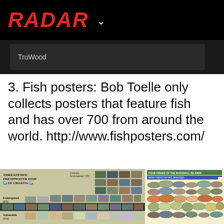RADAR
TruWood
3. Fish posters: Bob Toelle only collects posters that feature fish and has over 700 from around the world. http://www.fishposters.com/
[Figure (photo): Two fish posters side by side. Left poster titled 'Threatened Freshwater Fish of Croatia' showing a grid of fish photos categorized by threat level (Critically Endangered, Endangered, Vulnerable). Right poster showing illustrated food fish of a coastal region with rows of colorful fish illustrations.]